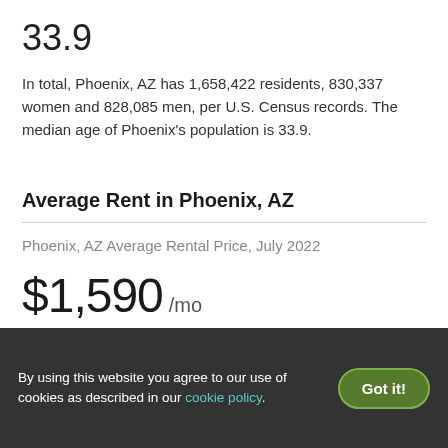33.9
In total, Phoenix, AZ has 1,658,422 residents, 830,337 women and 828,085 men, per U.S. Census records. The median age of Phoenix’s population is 33.9.
Average Rent in Phoenix, AZ
Phoenix, AZ Average Rental Price, July 2022
$1,590 /mo
By using this website you agree to our use of cookies as described in our cookie policy.